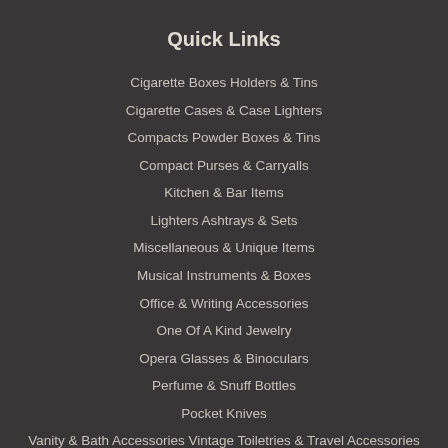Quick Links
Cigarette Boxes Holders & Tins
Cigarette Cases & Case Lighters
Compacts Powder Boxes & Tins
Compact Purses & Carryalls
Kitchen & Bar Items
Lighters Ashtrays & Sets
Miscellaneous & Unique Items
Musical Instruments & Boxes
Office & Writing Accessories
One Of A Kind Jewelry
Opera Glasses & Binoculars
Perfume & Snuff Bottles
Pocket Knives
Vanity & Bath Accessories Vintage Toiletries & Travel Accessories